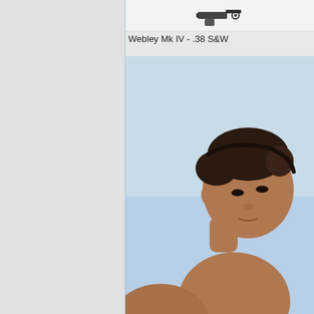[Figure (photo): Small image of a gun/revolver (Webley Mk IV) shown at top of content area]
Webley Mk IV - .38 S&W
[Figure (photo): Photo of a shirtless man looking over his shoulder, outdoor/beach scene, described as hitman drawing revolver]
The hitman draws his revolver...
[Figure (infographic): Seamless food delivery advertisement banner with pizza image on left, Seamless logo in center, ORDER NOW button on right, and close X button]